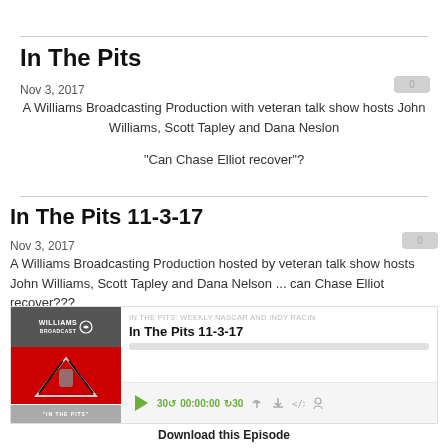In The Pits
Nov 3, 2017
A Williams Broadcasting Production with veteran talk show hosts John Williams, Scott Tapley and Dana Neslon
"Can Chase Elliot recover"?
In The Pits 11-3-17
Nov 3, 2017
A Williams Broadcasting Production hosted by veteran talk show hosts John Williams, Scott Tapley and Dana Nelson ... can Chase Elliot recover???
[Figure (screenshot): Podcast player widget showing 'In The Pits 11-3-17' episode with play button, progress bar, and controls showing 30s back, 00:00:00 timestamp, 30s forward, and icons for RSS, download, embed, and headphones.]
Download this Episode